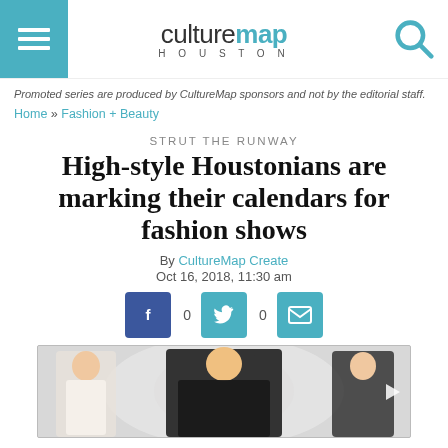culturemap HOUSTON
Promoted series are produced by CultureMap sponsors and not by the editorial staff.
Home » Fashion + Beauty
STRUT THE RUNWAY
High-style Houstonians are marking their calendars for fashion shows
By CultureMap Create
Oct 16, 2018, 11:30 am
[Figure (other): Social sharing buttons: Facebook (0), Twitter (0), Email]
[Figure (photo): Fashion photo showing three female models wearing elegant fashion clothing against a light swirling background]